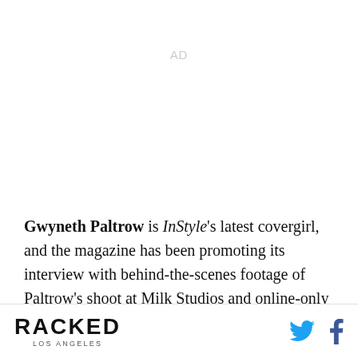AD
Gwyneth Paltrow is InStyle's latest covergirl, and the magazine has been promoting its interview with behind-the-scenes footage of Paltrow's shoot at Milk Studios and online-only exclusives. In one, the actress reveals the 10
RACKED LOS ANGELES